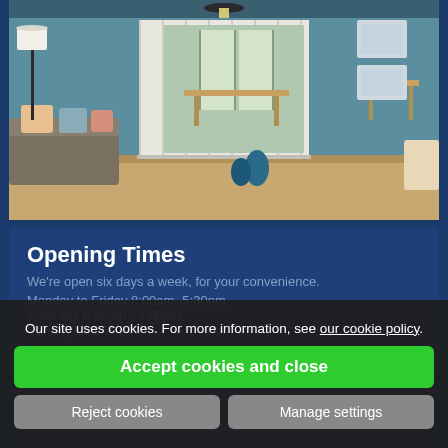[Figure (photo): Interior room photo showing a living room with teal/blue walls, a grey sofa with colorful pillows, a floor lamp, folding white interior doors leading to another room with French doors, wall art, and teal decorative objects on the floor.]
Opening Times
We're open six days a week, for your convenience.
Monday to Friday 8:00am -5:30pm
Saturday 8:00am - 4:00pm
Sunday CLOSED
Our site uses cookies. For more information, see our cookie policy.
Accept cookies and close
Reject cookies
Manage settings